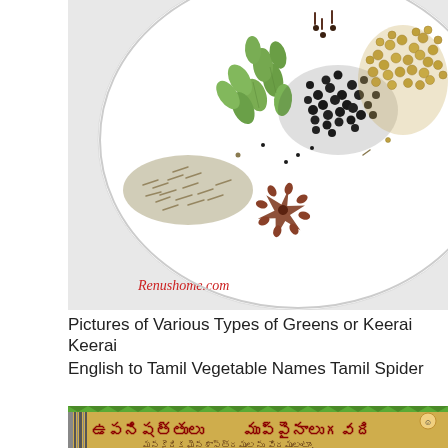[Figure (photo): A white bowl containing various whole spices including cumin seeds, green cardamom pods, black peppercorns, coriander seeds, a star anise, and cloves. Watermark text 'Renushome.com' in red italic at bottom left of image.]
Pictures of Various Types of Greens or Keerai Keerai
English to Tamil Vegetable Names Tamil Spider
[Figure (photo): A decorative image with green and brown background featuring Telugu script text. The text reads 'ఉపనిషత్తులు' (Upanishattulu) and 'ముప్పైనాలుగవది' (Muppainaalu gavadi) and additional Telugu text below: 'మనకైదికమైనశాస్త్రములను వేదములంటాం. ఆ వేదమూలమొకచెట్టుగాభావించినట్టయితే']